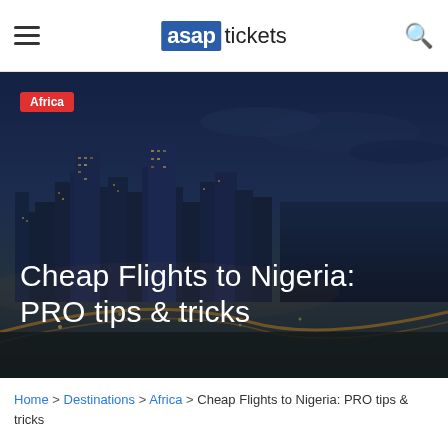asap tickets — navigation header with hamburger menu and search icon
[Figure (photo): Nighttime aerial cityscape of Lagos, Nigeria showing illuminated skyscrapers, highways and waterfront with a dark overlay. 'Africa' category tag in red top-left corner.]
Cheap Flights to Nigeria: PRO tips & tricks
Home > Destinations > Africa > Cheap Flights to Nigeria: PRO tips & tricks